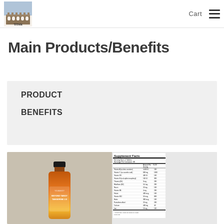Cart  ☰  [Titan logo]
Main Products/Benefits
PRODUCT
BENEFITS
[Figure (photo): Product bottle labeled 'Beyond Tangy Tangerine 2.0' with orange-to-amber gradient coloring, beside a Supplement Facts panel showing nutritional information.]